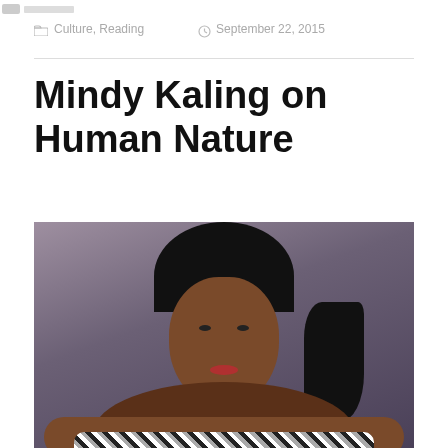Culture, Reading   September 22, 2015
Mindy Kaling on Human Nature
[Figure (photo): Photo of Mindy Kaling, a woman with black hair and red lipstick, wearing a patterned strapless dress, leaning forward with arms resting on a surface, looking upward. The background is a muted purple-grey.]